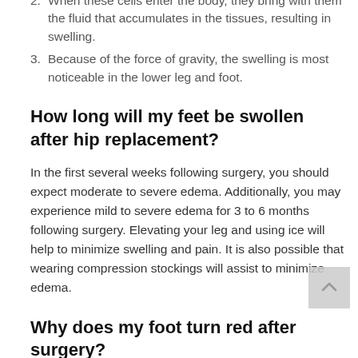2. When these cells enter the body, they bring with them the fluid that accumulates in the tissues, resulting in swelling.
3. Because of the force of gravity, the swelling is most noticeable in the lower leg and foot.
How long will my feet be swollen after hip replacement?
In the first several weeks following surgery, you should expect moderate to severe edema. Additionally, you may experience mild to severe edema for 3 to 6 months following surgery. Elevating your leg and using ice will help to minimize swelling and pain. It is also possible that wearing compression stockings will assist to minimize edema.
Why does my foot turn red after surgery?
When you put your foot down for the first time following surgery, your foot may become a different color, generally